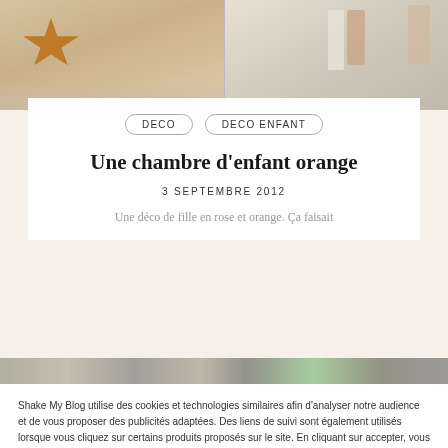[Figure (photo): Top portion of a blog post image showing children's room decorations: a gold star-shaped pillow on the left half, and stuffed toys/dolls on a shelf on the right half.]
DECO
DECO ENFANT
Une chambre d'enfant orange
3 SEPTEMBRE 2012
Une déco de fille en rose et orange. Ça faisait
[Figure (photo): Partially visible bottom image strip of the blog post, showing a children's room.]
Shake My Blog utilise des cookies et technologies similaires afin d'analyser notre audience et de vous proposer des publicités adaptées. Des liens de suivi sont également utilisés lorsque vous cliquez sur certains produits proposés sur le site. En cliquant sur accepter, vous autorisez l'utilisation de tous ces cookies.
Cookie settings
ACCEPTER